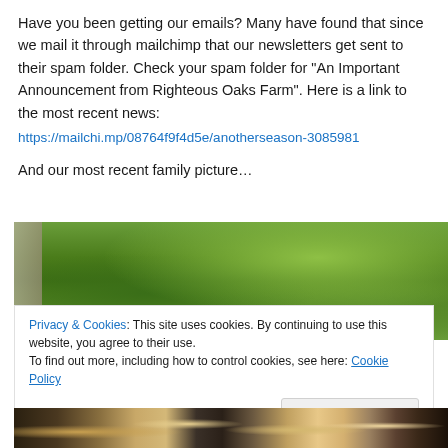Have you been getting our emails? Many have found that since we mail it through mailchimp that our newsletters get sent to their spam folder. Check your spam folder for “An Important Announcement from Righteous Oaks Farm”. Here is a link to the most recent news:
https://mailchi.mp/08764f9f4d5e/anotherseason-3085981
And our most recent family picture…
[Figure (photo): Top portion of a family photo showing trees and greenery in the background]
Privacy & Cookies: This site uses cookies. By continuing to use this website, you agree to their use.
To find out more, including how to control cookies, see here: Cookie Policy
[Figure (photo): Bottom portion of a family photo showing people]